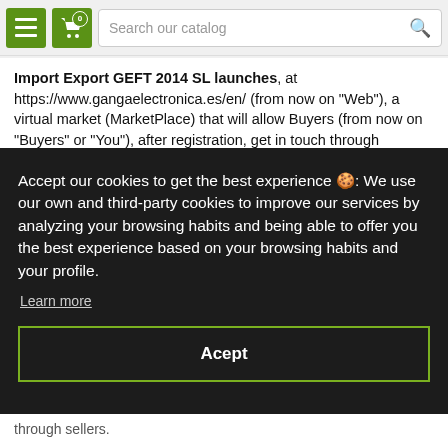[Figure (screenshot): Top navigation bar with hamburger menu button, shopping cart button with badge '0', and search bar with placeholder 'Search our catalog']
Import Export GEFT 2014 SL launches, at https://www.gangaelectronica.es/en/ (from now on "Web"), a virtual market (MarketPlace) that will allow Buyers (from now on "Buyers" or "You"), after registration, get in touch through
Accept our cookies to get the best experience 🍪: We use our own and third-party cookies to improve our services by analyzing your browsing habits and being able to offer you the best experience based on your browsing habits and your profile.
Learn more
Acept
through sellers.